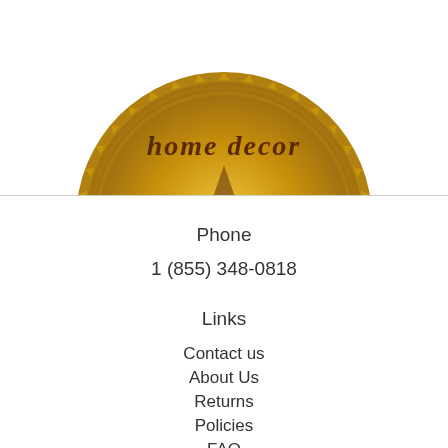[Figure (logo): Partial gold medallion/badge with 'home decor' text in cursive, star shape in center, serrated gold border — bottom half cut off by page edge]
Phone
1 (855) 348-0818
Links
Contact us
About Us
Returns
Policies
FAQ